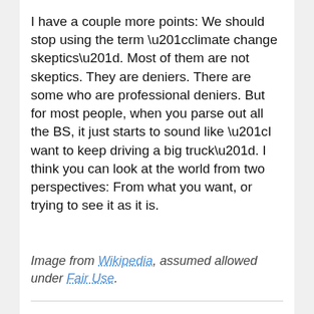I have a couple more points: We should stop using the term “climate change skeptics”. Most of them are not skeptics. They are deniers. There are some who are professional deniers. But for most people, when you parse out all the BS, it just starts to sound like “I want to keep driving a big truck”. I think you can look at the world from two perspectives: From what you want, or trying to see it as it is.
Image from Wikipedia, assumed allowed under Fair Use.